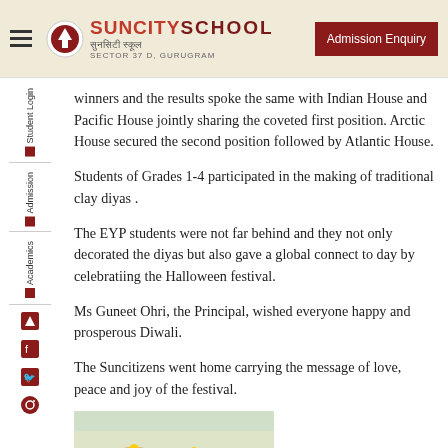SUNCITY SCHOOL - Admission Enquiry
winners and the results spoke the same with Indian House and Pacific House jointly sharing the coveted first position. Arctic House secured the second position followed by Atlantic House.
Students of Grades 1-4 participated in the making of traditional clay diyas .
The EYP students were not far behind and they not only decorated the diyas but also gave a global connect to day by celebratiing the Halloween festival.
Ms Guneet Ohri, the Principal, wished everyone happy and prosperous Diwali.
The Suncitizens went home carrying the message of love, peace and joy of the festival.
[Figure (photo): Photo of traditional clay diyas decorated for Diwali celebration]